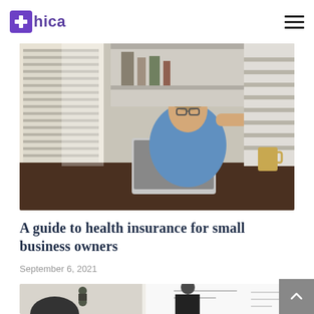hica
[Figure (photo): Two people in a casual office setting — one seated at a wooden desk with a laptop, smiling and gesturing, wearing glasses and a denim shirt; the other standing and handing something over, wearing a striped top. Background shows window blinds and shelving.]
A guide to health insurance for small business owners
September 6, 2021
[Figure (photo): People in a meeting or classroom setting with a whiteboard, partially visible at the bottom of the page. Someone is pointing at the board.]